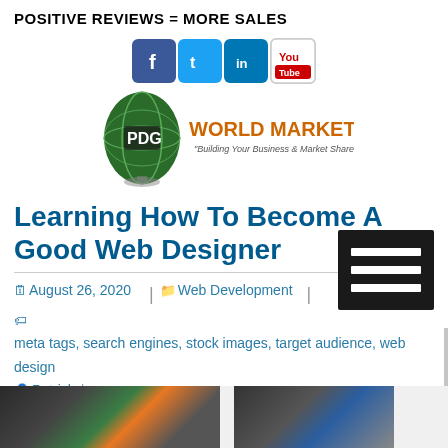POSITIVE REVIEWS = MORE SALES
[Figure (illustration): Social media icons: Facebook, Twitter, LinkedIn, YouTube]
[Figure (logo): PDG World Marketing logo with globe and text 'Building Your Business & Market Share']
[Figure (illustration): Hamburger menu icon (three horizontal white lines on dark background)]
Learning How To Become A Good Web Designer
August 26, 2020 | Web Development | meta tags, search engines, stock images, target audience, web design | Patrick
[Figure (photo): Partial bottom strip showing two web design related images]